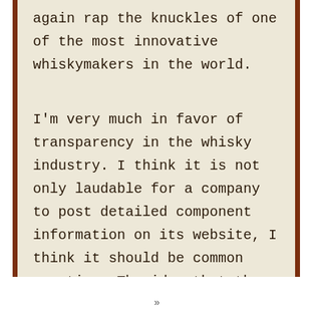again rap the knuckles of one of the most innovative whiskymakers in the world.

I'm very much in favor of transparency in the whisky industry. I think it is not only laudable for a company to post detailed component information on its website, I think it should be common practice. The idea that the SWA would throttle the publishing (and not on the bottle!) of such useful information is disappointing, and in my opinion is a step backwards for the industry. So although Compass Box cannot post this information on their website, nothing is stopping me from doing it!
»